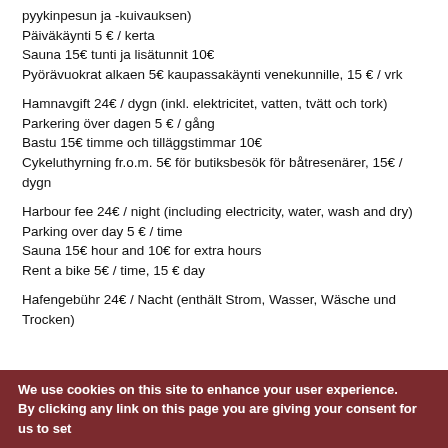pyykinpesun ja -kuivauksen)
Päiväkäynti 5 € / kerta
Sauna 15€ tunti ja lisätunnit 10€
Pyörävuokrat alkaen 5€ kaupassakäynti venekunnille, 15 € / vrk
Hamnavgift 24€ / dygn (inkl. elektricitet, vatten, tvätt och tork)
Parkering över dagen 5 € / gång
Bastu 15€ timme och tilläggstimmar 10€
Cykeluthyrning fr.o.m. 5€ för butiksbesök för båtresenärer, 15€ / dygn
Harbour fee 24€ / night (including electricity, water, wash and dry)
Parking over day 5 € / time
Sauna 15€ hour and 10€ for extra hours
Rent a bike 5€ / time, 15 € day
Hafengebühr 24€ / Nacht (enthält Strom, Wasser, Wäsche und Trocken)
We use cookies on this site to enhance your user experience.
By clicking any link on this page you are giving your consent for us to set